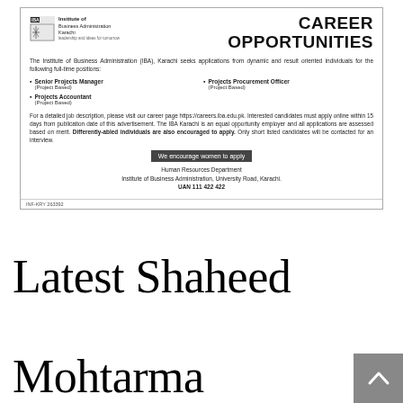[Figure (other): IBA Karachi Career Opportunities advertisement box with logo, job listings, and contact information]
Latest Shaheed Mohtarma Benazir Bhutto Institute of Trauma SMBBIT Medical Posts Karachi